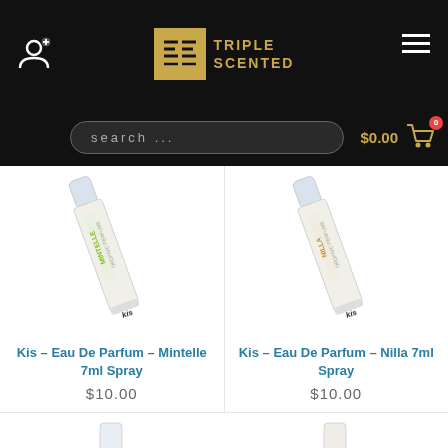[Figure (logo): Triple Scented logo with gold emblem and text on black header bar]
search ...
$0.00
[Figure (photo): Kis Eau De Parfum Mintelle 7ml Spray perfume pen bottle]
[Figure (photo): Kis Eau De Parfum Nilla 7ml Spray perfume pen bottle]
Kis – Eau De Parfum – Mintelle 7ml Spray
$10.00
Kis – Eau De Parfum – Nilla 7ml Spray
$10.00